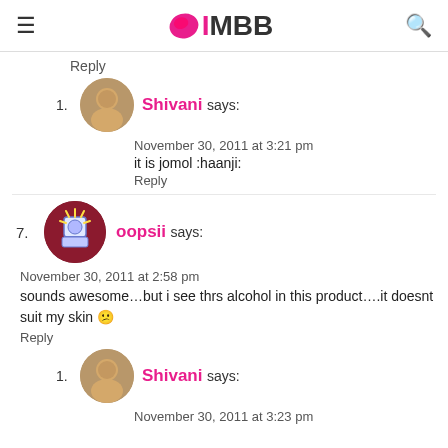IMBB
Reply
1. Shivani says: November 30, 2011 at 3:21 pm
it is jomol :haanji:
Reply
7. oopsii says: November 30, 2011 at 2:58 pm
sounds awesome...but i see thrs alcohol in this product....it doesnt suit my skin 😕
Reply
1. Shivani says: November 30, 2011 at 3:23 pm